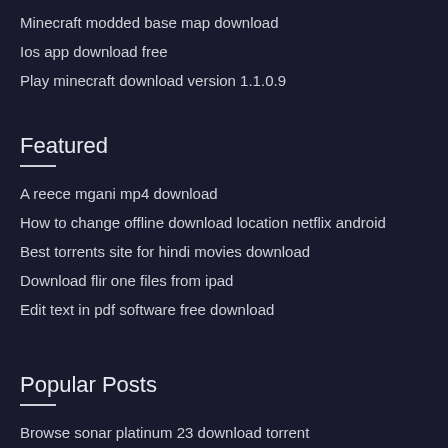Minecraft modded base map download
Ios app download free
Play minecraft download version 1.1.0.9
Featured
A reece mgani mp4 download
How to change offline download location netflix android
Best torrents site for hindi movies download
Download flir one files from ipad
Edit text in pdf software free download
Popular Posts
Browse sonar platinum 23 download torrent
How to download mods for kawiistacie mods